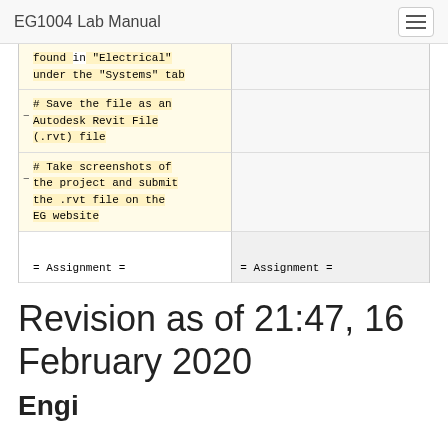EG1004 Lab Manual
found in "Electrical" under the "Systems" tab
# Save the file as an Autodesk Revit File (.rvt) file
# Take screenshots of the project and submit the .rvt file on the EG website
= Assignment =	= Assignment =
Revision as of 21:47, 16 February 2020